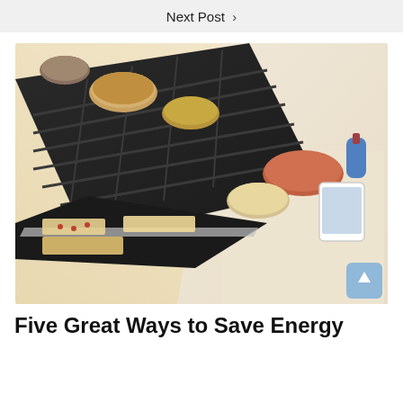Next Post >
[Figure (photo): Overhead view of a kitchen stove/oven with multiple dishes of food on the burners and oven racks, alongside a kitchen counter with more food dishes and a tablet device propped up.]
Five Great Ways to Save Energy